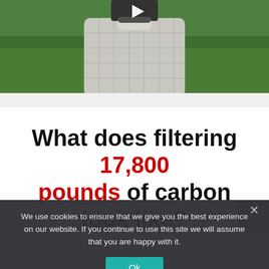[Figure (photo): A man in a plaid shirt standing outdoors on green grass, with a video play button overlay at the top center of the image.]
What does filtering 17,800 pounds of carbon look like?
We use cookies to ensure that we give you the best experience on our website. If you continue to use this site we will assume that you are happy with it.